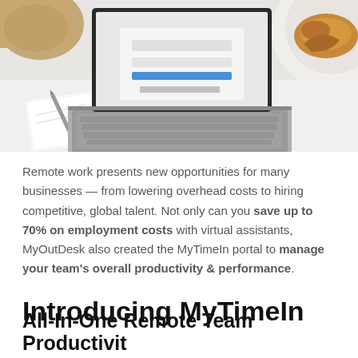[Figure (photo): Overhead view of a laptop computer on a white desk with a notebook, pen, plant leaves on the left, and a pastry on the right]
Remote work presents new opportunities for many businesses — from lowering overhead costs to hiring competitive, global talent. Not only can you save up to 70% on employment costs with virtual assistants, MyOutDesk also created the MyTimeIn portal to manage your team's overall productivity & performance.
Introducing MyTimeIn
All-In-One Remote Team Productivity